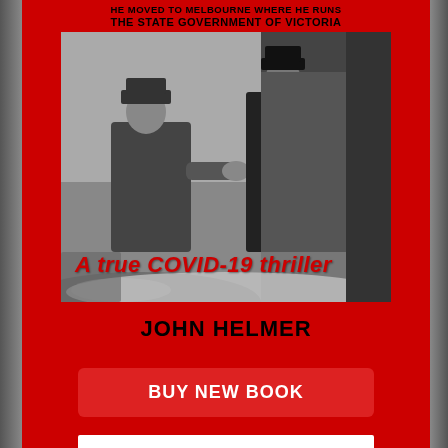HE MOVED TO MELBOURNE WHERE HE RUNS THE STATE GOVERNMENT OF VICTORIA
[Figure (photo): Black and white historical photograph showing two men in military-style coats and hats, one appearing to greet or speak to the other, with a caption overlay reading 'A true COVID-19 thriller']
A true COVID-19 thriller
JOHN HELMER
BUY NEW BOOK